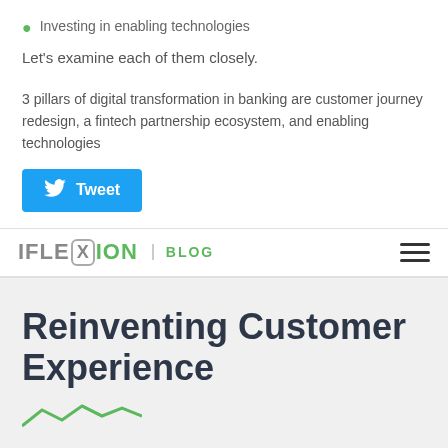Investing in enabling technologies
Let's examine each of them closely.
3 pillars of digital transformation in banking are customer journey redesign, a fintech partnership ecosystem, and enabling technologies
[Figure (screenshot): Blue Tweet button with Twitter bird icon]
IFLEXION BLOG
Reinventing Customer Experience